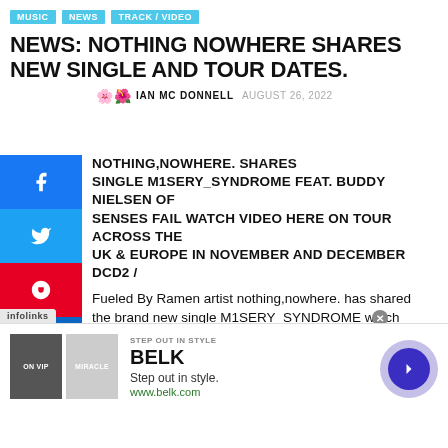MUSIC | NEWS | TRACK / VIDEO
NEWS: NOTHING NOWHERE SHARES NEW SINGLE AND TOUR DATES.
IAN MC DONNELL  AUGUST 26, 2022
NOTHING,NOWHERE. SHARES SINGLE M1SERY_SYNDROME FEAT. BUDDY NIELSEN OF SENSES FAIL WATCH VIDEO HERE ON TOUR ACROSS THE UK & EUROPE IN NOVEMBER AND DECEMBER DCD2 / Fueled By Ramen artist nothing,nowhere. has shared the brand new single M1SERY_SYNDROME which features Buddy Nielsen of Senses Fail. M1SERY_SYNDROME is available today on all streaming platforms and is joined by official music video created by Gabor Toth (gabxtoth) ...
[Figure (other): Advertisement for Belk: Step out in style. www.belk.com with two product images and a navigation arrow.]